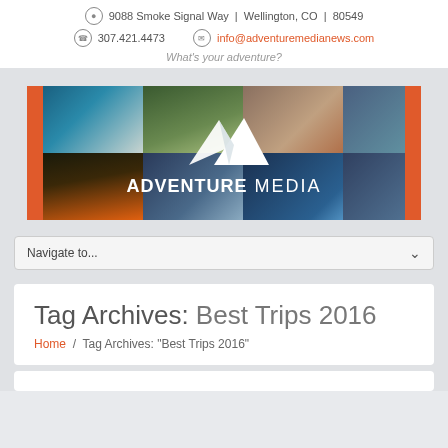9088 Smoke Signal Way | Wellington, CO | 80549
307.421.4473  info@adventuremedianews.com
What's your adventure?
[Figure (logo): Adventure Media banner logo with mountain/triangle SVG icon and collage of outdoor adventure photos behind it. Red borders on left and right sides. Text reads ADVENTURE MEDIA.]
Navigate to...
Tag Archives: Best Trips 2016
Home / Tag Archives: "Best Trips 2016"